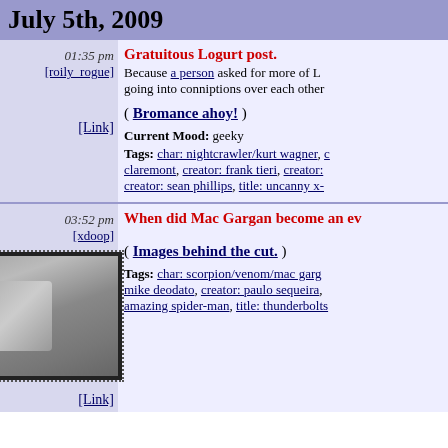July 5th, 2009
01:35 pm [roily_rogue] Gratuitous Logurt post. Because a person asked for more of L going into conniptions over each other... ( Bromance ahoy! ) Current Mood: geeky Tags: char: nightcrawler/kurt wagner, claremont, creator: frank tieri, creator: creator: sean phillips, title: uncanny x-
03:52 pm [xdoop] When did Mac Gargan become an ev ( Images behind the cut. ) Tags: char: scorpion/venom/mac garg mike deodato, creator: paulo sequeira, amazing spider-man, title: thunderbolts [Link]